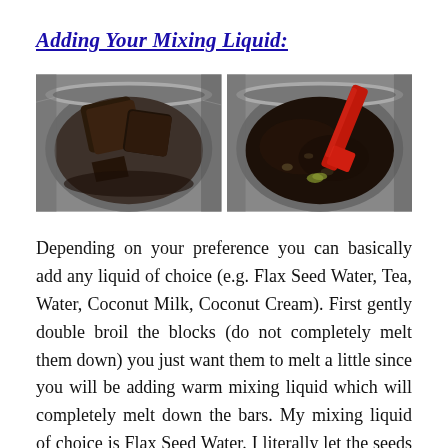Adding Your Mixing Liquid:
[Figure (photo): Two side-by-side photos: left shows dark chocolate blocks/chunks in a metal pot, right shows dark melted mixture being stirred with a red silicone spatula in a metal pot.]
Depending on your preference you can basically add any liquid of choice (e.g. Flax Seed Water, Tea, Water, Coconut Milk, Coconut Cream). First gently double broil the blocks (do not completely melt them down) you just want them to melt a little since you will be adding warm mixing liquid which will completely melt down the bars. My mixing liquid of choice is Flax Seed Water. I literally let the seeds (2 oz) just